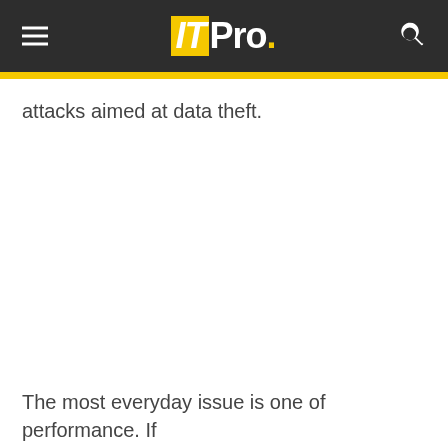ITPro.
attacks aimed at data theft.
The most everyday issue is one of performance. If